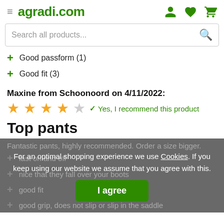agradi.com
Search all products...
Good passform (1)
Good fit (3)
Maxine from Schoonoord on 4/11/2022:
★★★★☆  ✓ Yes, I recommend this product
Top pants
Fantastic pants, highly recommended. Order a size bigger.
fast on and off
nice that they fall over your boots
good fit
good grip, does not slip or slip in the saddle
For an optimal shopping experience we use Cookies. If you keep using our website we assume that you agree with this.